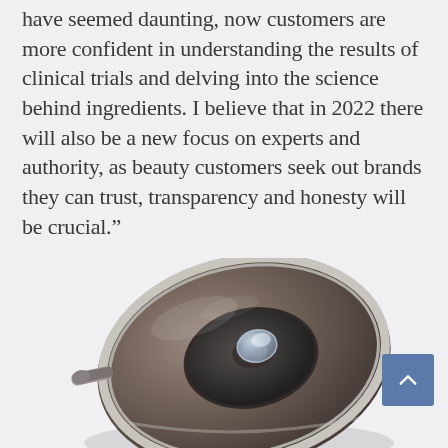have seemed daunting, now customers are more confident in understanding the results of clinical trials and delving into the science behind ingredients. I believe that in 2022 there will also be a new focus on experts and authority, as beauty customers seek out brands they can trust, transparency and honesty will be crucial.”
[Figure (photo): A top-down angled view of a beauty/skincare device — appears to be a facial steamer or nebulizer with a metallic bronze/gray elliptical top, silver rim, a transparent nozzle attachment in the center, and a small handle/spout on the left side.]